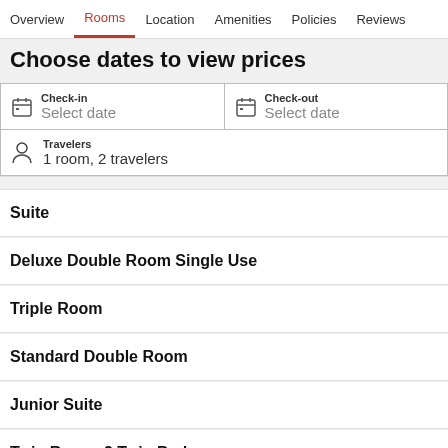Overview | Rooms | Location | Amenities | Policies | Reviews
Choose dates to view prices
Check-in
Select date
Check-out
Select date
Travelers
1 room, 2 travelers
Suite
Deluxe Double Room Single Use
Triple Room
Standard Double Room
Junior Suite
Twin Room, 2 Twin Beds